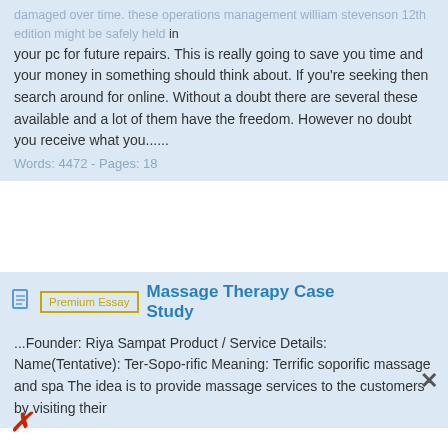damaged over time. these operations management william stevenson 12th edition might be safely held in your pc for future repairs. This is really going to save you time and your money in something should think about. If you're seeking then search around for online. Without a doubt there are several these available and a lot of them have the freedom. However no doubt you receive what you......
Words: 4472 - Pages: 18
Massage Therapy Case Study
...Founder: Riya Sampat Product / Service Details: Name(Tentative): Ter-Sopo-rific Meaning: Terrific soporific massage and spa The idea is to provide massage services to the customers by visiting their